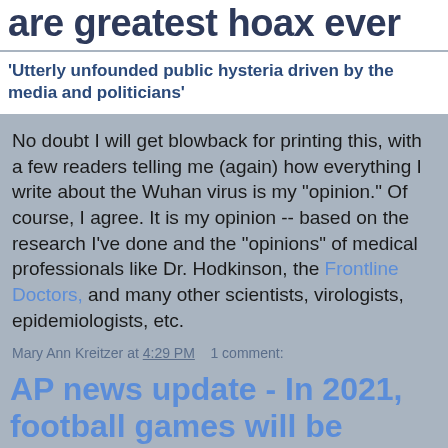are greatest hoax ever
'Utterly unfounded public hysteria driven by the media and politicians'
No doubt I will get blowback for printing this, with a few readers telling me (again) how everything I write about the Wuhan virus is my "opinion." Of course, I agree. It is my opinion -- based on the research I've done and the "opinions" of medical professionals like Dr. Hodkinson, the Frontline Doctors, and many other scientists, virologists, epidemiologists, etc.
Mary Ann Kreitzer at 4:29 PM    1 comment:
AP news update - In 2021, football games will be called according to Sports Commentators